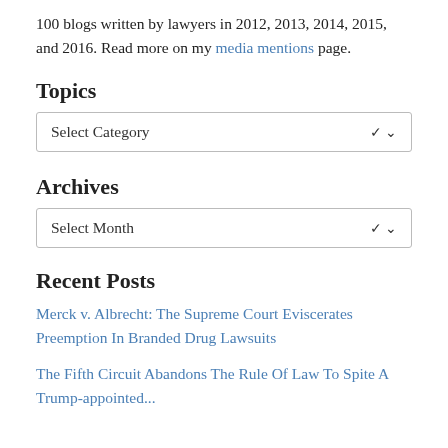100 blogs written by lawyers in 2012, 2013, 2014, 2015, and 2016. Read more on my media mentions page.
Topics
[Figure (other): Select Category dropdown box]
Archives
[Figure (other): Select Month dropdown box]
Recent Posts
Merck v. Albrecht: The Supreme Court Eviscerates Preemption In Branded Drug Lawsuits
The Fifth Circuit Abandons The Rule Of Law To Spite A Trump-appointed...